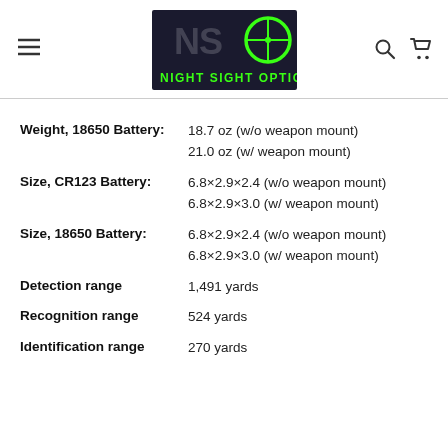Night Sight Optics – navigation header with logo
Weight, 18650 Battery: 18.7 oz (w/o weapon mount) 21.0 oz (w/ weapon mount)
Size, CR123 Battery: 6.8×2.9×2.4 (w/o weapon mount) 6.8×2.9×3.0 (w/ weapon mount)
Size, 18650 Battery: 6.8×2.9×2.4 (w/o weapon mount) 6.8×2.9×3.0 (w/ weapon mount)
Detection range 1,491 yards
Recognition range 524 yards
Identification range 270 yards